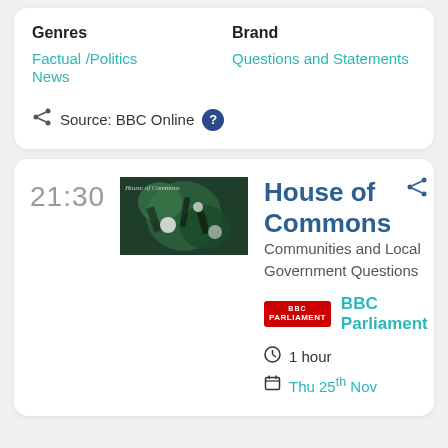Genres: Factual / Politics News | Brand: Questions and Statements
Source: BBC Online
21:30
[Figure (photo): House of Commons thumbnail image showing stained glass or decorative architectural detail in green and dark tones, with text overlay 'House of Commons']
House of Commons
Communities and Local Government Questions
BBC Parliament
1 hour
Thu 25th Nov